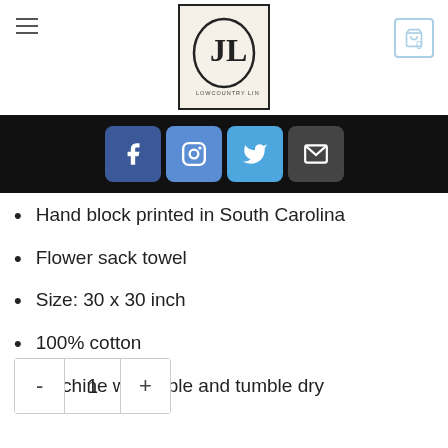Logo and navigation header with hamburger menu, JL logo, and cart icon
[Figure (other): Social media icon bar with Facebook, Instagram, Twitter, and Email icons on black background]
Hand block printed in South Carolina
Flower sack towel
Size: 30 x 30 inch
100% cotton
Machine washable and tumble dry